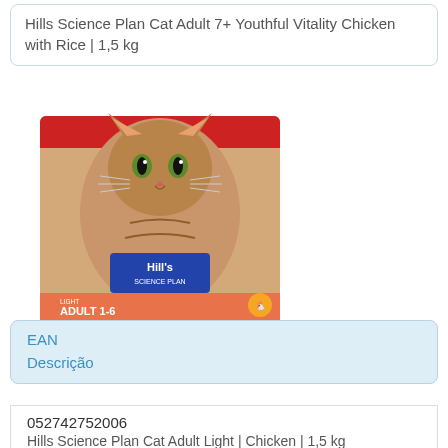Hills Science Plan Cat Adult 7+ Youthful Vitality Chicken with Rice | 1,5 kg
[Figure (photo): Hill's Science Plan cat food bag for Adult 1-6 Light with Chicken, featuring a tabby cat on the packaging]
| EAN | Descrição |
| --- | --- |
| 052742752006 | Hills Science Plan Cat Adult Light | Chicken | 1,5 kg |